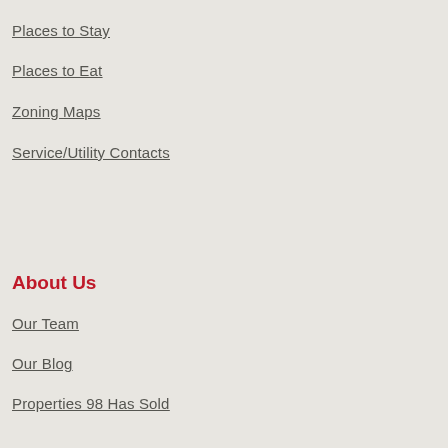Places to Stay
Places to Eat
Zoning Maps
Service/Utility Contacts
About Us
Our Team
Our Blog
Properties 98 Has Sold